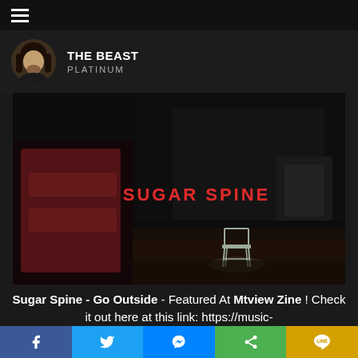THE BEAST PLATINUM
[Figure (photo): Dark moody stage/room scene with 'SUGAR SPINE' text in red neon letters and a single chair under a spotlight. Left side shows a blurred reddish panel.]
Sugar Spine - Go Outside - Featured At Mtview Zine ! Check it out here at this link: https://music-mtview.blogspot.com/2021/10/sugar-spine-go-
[Figure (infographic): Social media share bar with Facebook, Twitter, Messenger, Share, and LINE buttons]